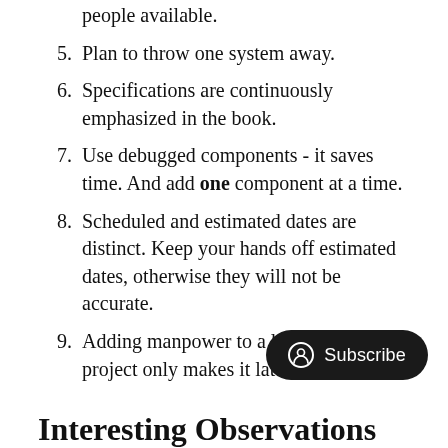people available.
5. Plan to throw one system away.
6. Specifications are continuously emphasized in the book.
7. Use debugged components - it saves time. And add one component at a time.
8. Scheduled and estimated dates are distinct. Keep your hands off estimated dates, otherwise they will not be accurate.
9. Adding manpower to a late software project only makes it later.
Interesting Observations